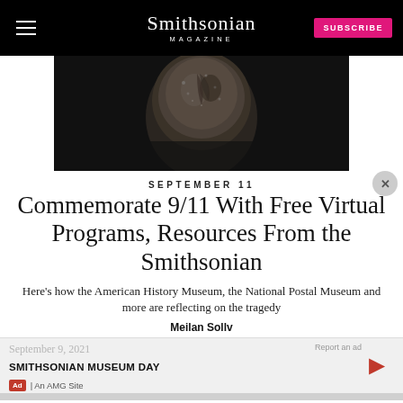Smithsonian MAGAZINE
[Figure (photo): Close-up photo of a ceramic or stone artifact fragment against a black background, partially visible from the top portion of the image]
SEPTEMBER 11
Commemorate 9/11 With Free Virtual Programs, Resources From the Smithsonian
Here's how the American History Museum, the National Postal Museum and more are reflecting on the tragedy
Meilan Sollv
September 9, 2021
SMITHSONIAN MUSEUM DAY
Ad | An AMG Site
Report an ad